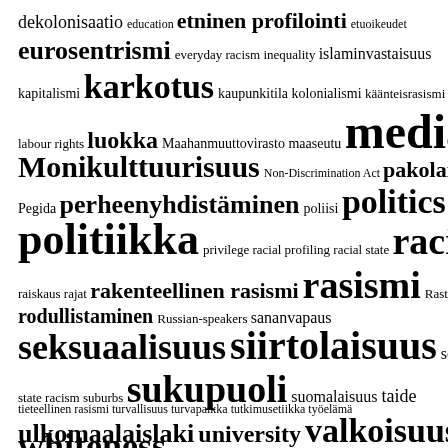[Figure (infographic): Word cloud containing Finnish and English terms related to racism, politics, immigration, and social topics. Words appear in varying font sizes indicating frequency/importance. Largest words include: rasismi, media, politiikka, racism, siirtolaisuus, seksuaalisuus, valta, valkoisuus, ulkomaalaislaki, sukupuoli, whiteness, Monikulttuurisuus, politics, rakenteellinen rasismi, eurosentrismi, karkotus.]